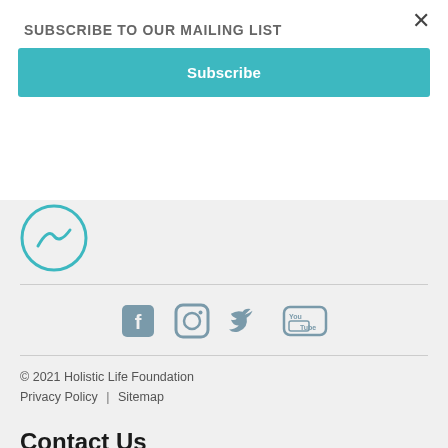SUBSCRIBE TO OUR MAILING LIST
Subscribe
[Figure (logo): Partial circular logo with teal wave/bird design, cropped at bottom]
[Figure (infographic): Social media icons row: Facebook, Instagram, Twitter, YouTube — all in muted steel-blue/grey color]
© 2021 Holistic Life Foundation
Privacy Policy | Sitemap
Contact Us
1014 W 36th St, Suite 403,
Baltimore, MD 21211